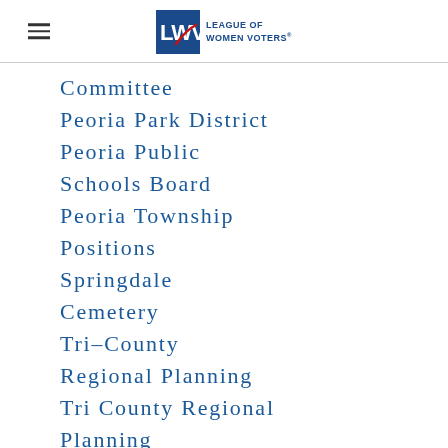[Figure (logo): League of Women Voters logo with hamburger menu icon on the left]
Committee
Peoria Park District
Peoria Public
Schools Board
Peoria Township
Positions
Springdale
Cemetery
Tri–County
Regional Planning
Tri County Regional
Planning